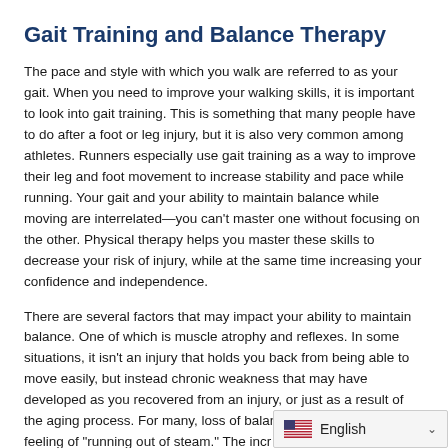Gait Training and Balance Therapy
The pace and style with which you walk are referred to as your gait. When you need to improve your walking skills, it is important to look into gait training. This is something that many people have to do after a foot or leg injury, but it is also very common among athletes. Runners especially use gait training as a way to improve their leg and foot movement to increase stability and pace while running. Your gait and your ability to maintain balance while moving are interrelated—you can't master one without focusing on the other. Physical therapy helps you master these skills to decrease your risk of injury, while at the same time increasing your confidence and independence.
There are several factors that may impact your ability to maintain balance. One of which is muscle atrophy and reflexes. In some situations, it isn't an injury that holds you back from being able to move easily, but instead chronic weakness that may have developed as you recovered from an injury, or just as a result of the aging process. For many, loss of balance stems from the feeling of "running out of steam." The incr… English